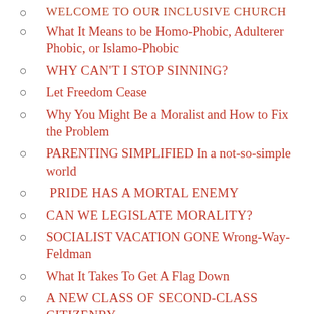WELCOME TO OUR INCLUSIVE CHURCH
What It Means to be Homo-Phobic, Adulterer Phobic, or Islamo-Phobic
WHY CAN'T I STOP SINNING?
Let Freedom Cease
Why You Might Be a Moralist and How to Fix the Problem
PARENTING SIMPLIFIED In a not-so-simple world
PRIDE HAS A MORTAL ENEMY
CAN WE LEGISLATE MORALITY?
SOCIALIST VACATION GONE Wrong-Way-Feldman
What It Takes To Get A Flag Down
A NEW CLASS OF SECOND-CLASS CITIZENRY